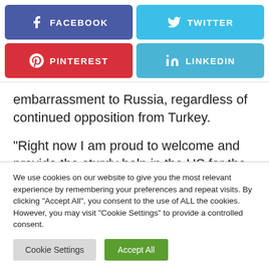[Figure (other): Social share buttons: Facebook (blue-purple), Twitter (light blue), Pinterest (red), LinkedIn (light blue)]
embarrassment to Russia, regardless of continued opposition from Turkey.
“Right now I am proud to welcome and provide the sturdy help in the US for the purposes of two nice
We use cookies on our website to give you the most relevant experience by remembering your preferences and repeat visits. By clicking “Accept All”, you consent to the use of ALL the cookies. However, you may visit “Cookie Settings” to provide a controlled consent.
Cookie Settings | Accept All